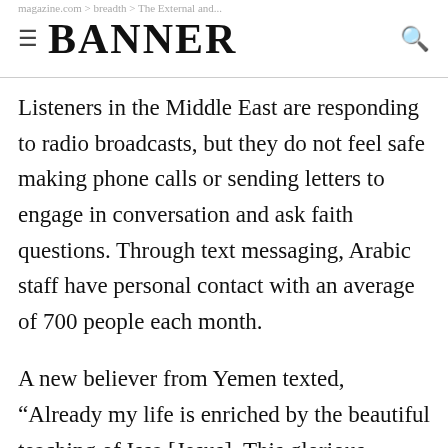≡ BANNER 🔍
Listeners in the Middle East are responding to radio broadcasts, but they do not feel safe making phone calls or sending letters to engage in conversation and ask faith questions. Through text messaging, Arabic staff have personal contact with an average of 700 people each month.
A new believer from Yemen texted, “Already my life is enriched by the beautiful teaching of Issa [Jesus]. This glorious teaching is needed by all people.”